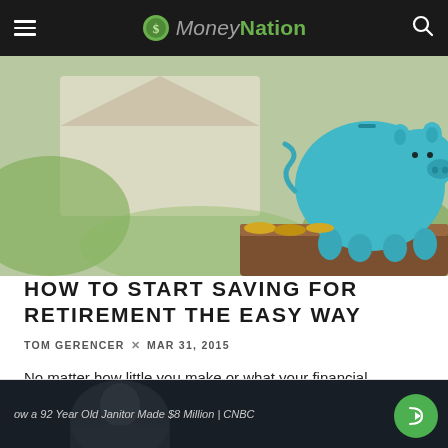MoneyNation
[Figure (photo): A teal/turquoise piggy bank sitting on a wooden platform, with a blurred suburban house and green garden in the background.]
HOW TO START SAVING FOR RETIREMENT THE EASY WAY
TOM GERENCER x MAR 31, 2015
No matter how little you make or what your financial situation is, the time to start saving for retirement is now. Taking the step to start saving is crucial an...
[Figure (screenshot): Thumbnail of a video titled 'How a 92 Year Old Janitor Made $8 Million | CNBC' with a share button overlay.]